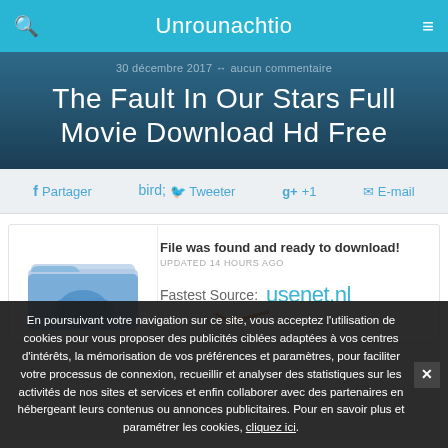Unrounachtio
30 décembre 2017 ↔ aucun commentaire
The Fault In Our Stars Full Movie Download Hd Free
f Partager   🐦 Tweeter   g+ +1   ✉ E-mail
[Figure (screenshot): Download card with a cloud folder icon, text 'File was found and ready to download!', 'UPDATED 14 HOURS AGO', and 'Fastest Source: usenet.nl']
En poursuivant votre navigation sur ce site, vous acceptez l'utilisation de cookies pour vous proposer des publicités ciblées adaptées à vos centres d'intérêts, la mémorisation de vos préférences et paramètres, pour faciliter votre processus de connexion, recueillir et analyser des statistiques sur les activités de nos sites et services et enfin collaborer avec des partenaires en hébergeant leurs contenus ou annonces publicitaires. Pour en savoir plus et paramétrer les cookies, cliquez ici.